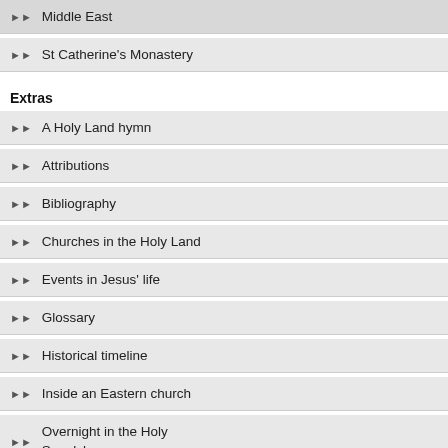Middle East (truncated top)
St Catherine's Monastery
Extras
A Holy Land hymn
Attributions
Bibliography
Churches in the Holy Land
Events in Jesus' life
Glossary
Historical timeline
Inside an Eastern church
Overnight in the Holy Sepulchre
Pilgrims' experiences
residents of Palestine (including Franc...
On the façade of the church is a ceramic depiction of Christ and the two disciples. Inside, under glass, are the remains of what is suggested to be the foundations of the house of Cleophas. Near the church, a section of Roman road has been excavated.
El-Qubeibeh is the only Emmaus candidate in Palestine, and checkpoints make access more difficult. The elevated site offers a fine outlook over the hill country towards the Mediterranean Sea.
Factors against El-Qubeibeh: 1) The... No Jewish objects have been found th... Gospel until late in the 13th century.
Administration: Franciscan Custody of th...
Tel.: 050-5200417